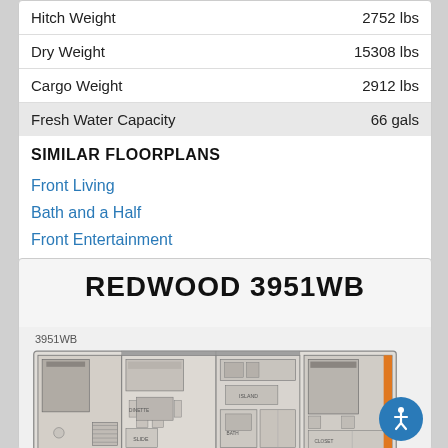| Spec | Value |
| --- | --- |
| Hitch Weight | 2752 lbs |
| Dry Weight | 15308 lbs |
| Cargo Weight | 2912 lbs |
| Fresh Water Capacity | 66 gals |
SIMILAR FLOORPLANS
Front Living
Bath and a Half
Front Entertainment
REDWOOD 3951WB
[Figure (engineering-diagram): Floorplan diagram of Redwood 3951WB RV model showing interior layout with rooms and furniture arrangement. Label '3951WB' in upper left.]